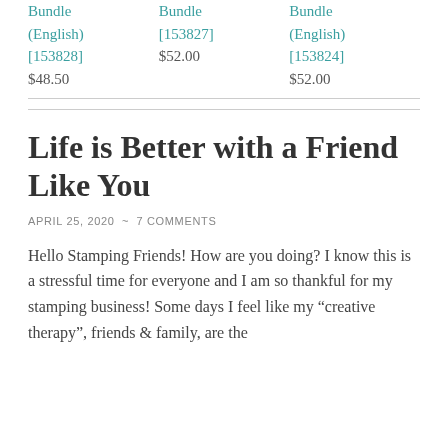| Bundle
(English)
[153828]
$48.50 | Bundle
[153827]
$52.00 | Bundle
(English)
[153824]
$52.00 |
Life is Better with a Friend Like You
APRIL 25, 2020  ~  7 COMMENTS
Hello Stamping Friends! How are you doing? I know this is a stressful time for everyone and I am so thankful for my stamping business! Some days I feel like my “creative therapy”, friends & family, are the